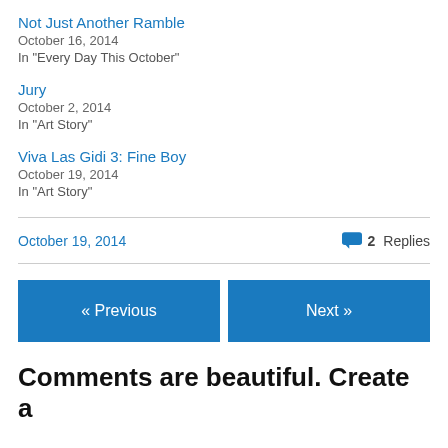Not Just Another Ramble
October 16, 2014
In "Every Day This October"
Jury
October 2, 2014
In "Art Story"
Viva Las Gidi 3: Fine Boy
October 19, 2014
In "Art Story"
October 19, 2014   2 Replies
« Previous
Next »
Comments are beautiful. Create a